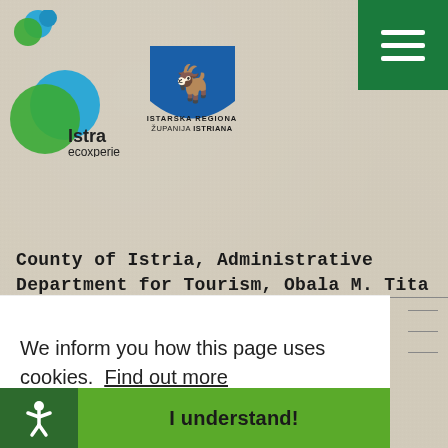[Figure (logo): Istra ecoxperience logo with overlapping blue and green circles, and Istarska Županija / Istriana coat of arms shield with golden goat]
County of Istria, Administrative Department for Tourism, Obala M. Tita 4, 52440 Poreč-Parenzo (Croatia)
We inform you how this page uses cookies.  Find out more
I understand!